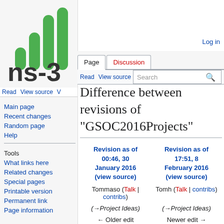[Figure (logo): ns-3 logo with green bar chart icon above 'ns-3' text]
Log in
Page | Discussion | Read | View source | More | Search
Difference between revisions of "GSOC2016Projects"
Main page
Recent changes
Random page
Help
Tools
What links here
Related changes
Special pages
Printable version
Permanent link
Page information
| Revision as of 00:46, 30 January 2016 (view source) | Revision as of 17:51, 8 February 2016 (view source) |
| --- | --- |
| Tommaso (Talk | contribs) | Tomh (Talk | contribs) |
| (→Project Ideas) | (→Project Ideas) |
| ← Older edit | Newer edit → |
| Line 68: | Line 68: |